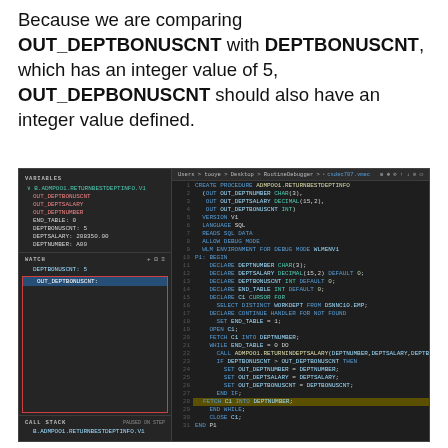Because we are comparing OUT_DEPTBONUSCNT with DEPTBONUSCNT, which has an integer value of 5, OUT_DEPBONUSCNT should also have an integer value defined.
[Figure (screenshot): VS Code debugger screenshot showing a SQL/PL routine ADMPOO1.RETURNBESTDEPTINFO with variables panel, watch panel showing OUT_DEPTBONUSCNT selected, call stack, and code editor with syntax highlighting. Current execution is paused at line 28 (FETCH C1 INTO DEPTNUMBER) highlighted in yellow.]